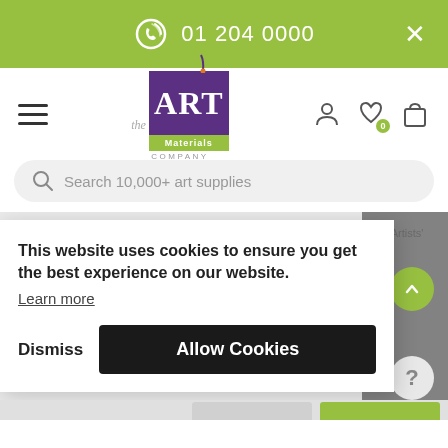01 204 0000
[Figure (logo): The Art Materials Company logo — purple square with ART text, green Materials strip, COMPANY text below]
[Figure (screenshot): Search bar with placeholder text: Search 10,000+ art supplies]
Paint > Oil Paint > Winsor & Newton Artist Oil 37ml > Winsor and Newton · Artists' Oil Colour · 37ml · Charcoal Grey
This website uses cookies to ensure you get the best experience on our website. Learn more
Dismiss
Allow Cookies